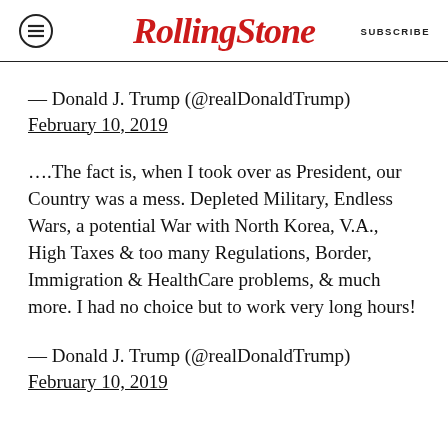Rolling Stone  SUBSCRIBE
— Donald J. Trump (@realDonaldTrump) February 10, 2019
….The fact is, when I took over as President, our Country was a mess. Depleted Military, Endless Wars, a potential War with North Korea, V.A., High Taxes & too many Regulations, Border, Immigration & HealthCare problems, & much more. I had no choice but to work very long hours!
— Donald J. Trump (@realDonaldTrump) February 10, 2019